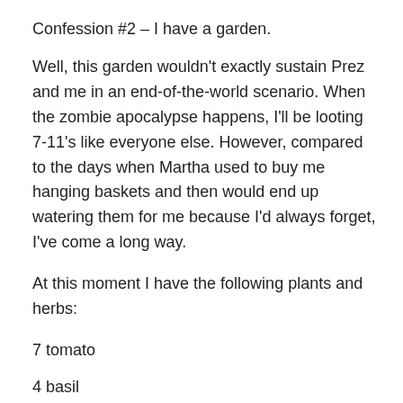Confession #2 – I have a garden.
Well, this garden wouldn't exactly sustain Prez and me in an end-of-the-world scenario. When the zombie apocalypse happens, I'll be looting 7-11's like everyone else. However, compared to the days when Martha used to buy me hanging baskets and then would end up watering them for me because I'd always forget, I've come a long way.
At this moment I have the following plants and herbs:
7 tomato
4 basil
2 rosemary